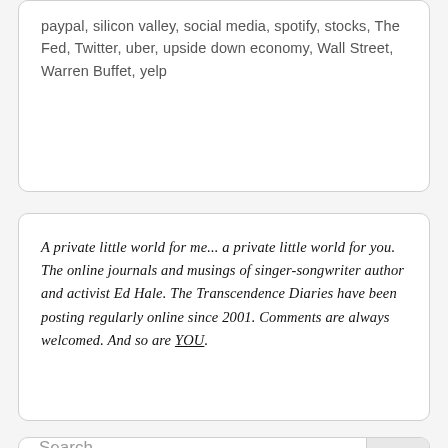paypal, silicon valley, social media, spotify, stocks, The Fed, Twitter, uber, upside down economy, Wall Street, Warren Buffet, yelp
A private little world for me... a private little world for you. The online journals and musings of singer-songwriter author and activist Ed Hale. The Transcendence Diaries have been posting regularly online since 2001. Comments are always welcomed. And so are YOU.
Search ...